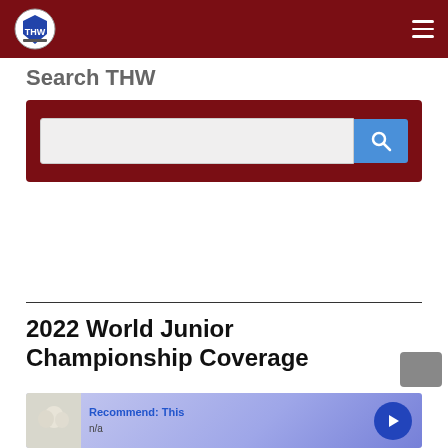THW (The Hockey Writers) navigation bar with logo and hamburger menu
Search THW
[Figure (screenshot): Search input box with gray text field and blue search button on dark red background]
2022 World Junior Championship Coverage
[Figure (infographic): Advertisement banner: Recommend: This, n/a, with thumbnail image and blue arrow button]